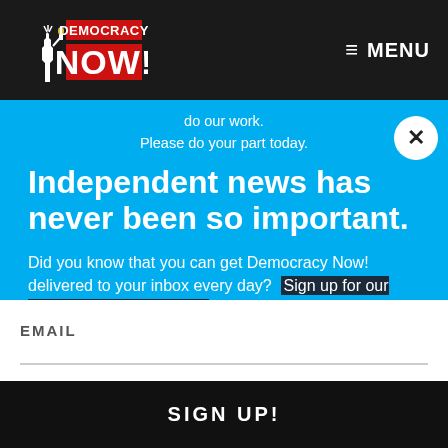[Figure (logo): Democracy Now! logo with Statue of Liberty icon, red and white text on dark background]
≡ MENU
do our work.
Please do your part today.
Independent news has never been so important.
Did you know that you can get Democracy Now! delivered to your inbox every day?  Sign up for our Daily News Digest today!  Don't worry, we'll never share or sell your information.
EMAIL
SIGN UP!